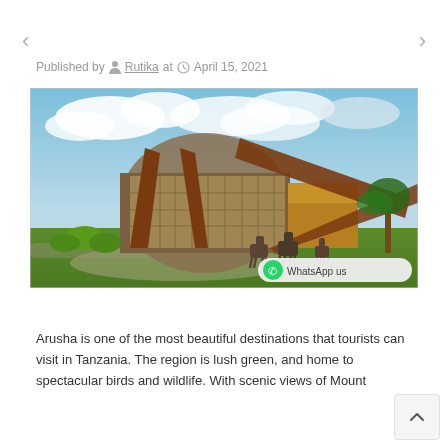< (left nav arrow)
> (right nav arrow)
Published by Rutika at April 15, 2021
[Figure (photo): Modern architectural building in Arusha, Tanzania with distinctive brown angular steel structures and a circular glass facade, green lawn with animals (donkeys/horses) in foreground, cloudy sky, palm trees on right]
WhatsApp us
Arusha is one of the most beautiful destinations that tourists can visit in Tanzania. The region is lush green, and home to spectacular birds and wildlife. With scenic views of Mount